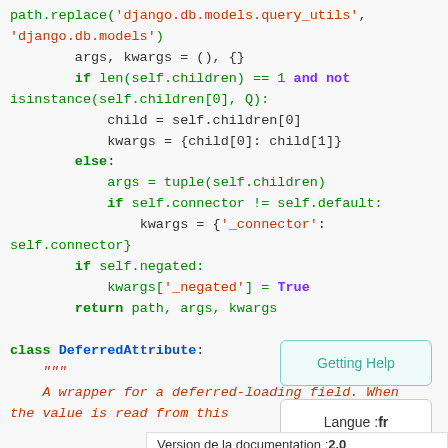path.replace('django.db.models.query_utils', 'django.db.models')
        args, kwargs = (), {}
        if len(self.children) == 1 and not isinstance(self.children[0], Q):
            child = self.children[0]
            kwargs = {child[0]: child[1]}
        else:
            args = tuple(self.children)
            if self.connector != self.default:
                kwargs = {'_connector': self.connector}
        if self.negated:
            kwargs['_negated'] = True
        return path, args, kwargs

class DeferredAttribute:
    """
    A wrapper for a deferred-loading field. When the value is read from this
Getting Help
Langue : fr
Version de la documentation : 2.0